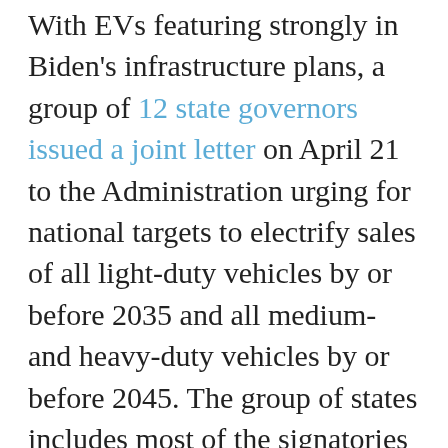With EVs featuring strongly in Biden's infrastructure plans, a group of 12 state governors issued a joint letter on April 21 to the Administration urging for national targets to electrify sales of all light-duty vehicles by or before 2035 and all medium- and heavy-duty vehicles by or before 2045. The group of states includes most of the signatories of last year's zero emission bus and truck MOU which established a similar goal to electrify all medium- and heavy-duty vehicle sales by 2050. Notably, New Mexico was among the group of eight signing